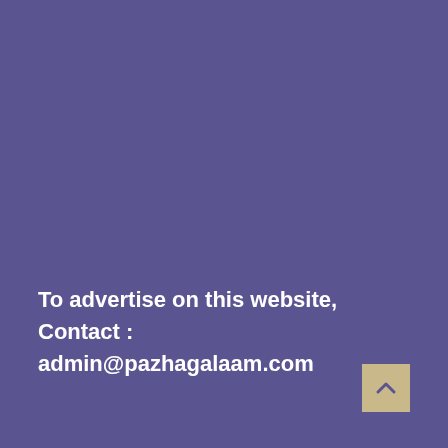To advertise on this website, Contact : admin@pazhagalaam.com
[Figure (other): Small beige/tan square button with an upward-pointing caret/arrow symbol, used as a scroll-to-top button]